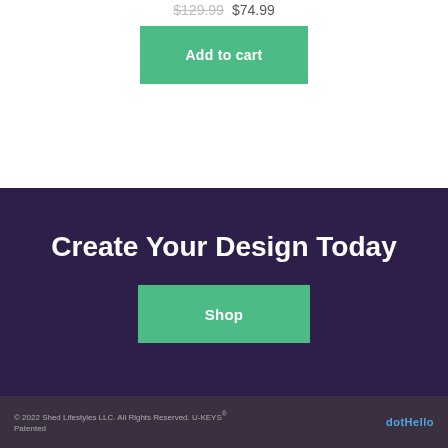$129.99  $74.99
Add to cart
Create Your Design Today
Shop
© 2022 Shed Lifestyles LLC. All Rights Reserved. U-KEYS® Patented     dotHello